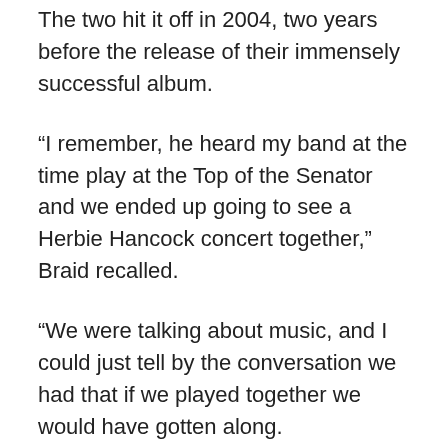The two hit it off in 2004, two years before the release of their immensely successful album.
“I remember, he heard my band at the time play at the Top of the Senator and we ended up going to see a Herbie Hancock concert together,” Braid recalled.
“We were talking about music, and I could just tell by the conversation we had that if we played together we would have gotten along.
“So we thought, for fun, we should just get together and play, which is what we did and then it felt mutually interesting, rewarding and fun, and we started a group.”
Braid says he hopes jazz fans will appreciate the playing without drums, concentrating on tone